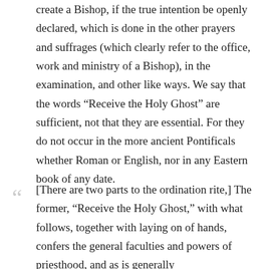create a Bishop, if the true intention be openly declared, which is done in the other prayers and suffrages (which clearly refer to the office, work and ministry of a Bishop), in the examination, and other like ways. We say that the words “Receive the Holy Ghost” are sufficient, not that they are essential. For they do not occur in the more ancient Pontificals whether Roman or English, nor in any Eastern book of any date.
[There are two parts to the ordination rite,] The former, "Receive the Holy Ghost," with what follows, together with laying on of hands, confers the general faculties and powers of priesthood, and as is generally